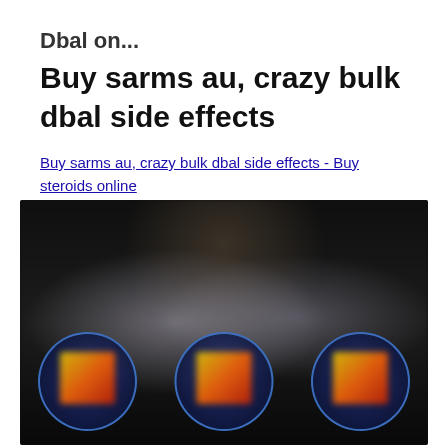Buy sarms au, crazy bulk dbal side effects
Buy sarms au, crazy bulk dbal side effects - Buy steroids online
[Figure (photo): Dark background promotional image showing blurred fitness/supplement product with three circular highlighted supplement containers at the bottom]